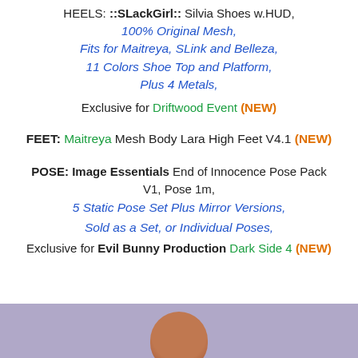HEELS: ::SLackGirl:: Silvia Shoes w.HUD,
100% Original Mesh,
Fits for Maitreya, SLink and Belleza,
11 Colors Shoe Top and Platform,
Plus 4 Metals,
Exclusive for Driftwood Event (NEW)
FEET: Maitreya Mesh Body Lara High Feet V4.1 (NEW)
POSE: Image Essentials End of Innocence Pose Pack V1, Pose 1m,
5 Static Pose Set Plus Mirror Versions,
Sold as a Set, or Individual Poses,
Exclusive for Evil Bunny Production Dark Side 4 (NEW)
[Figure (photo): Bottom portion of a photo showing a purple/lavender background with the top of a figure's head visible]